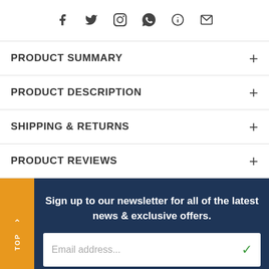[Figure (infographic): Social sharing icons row: Facebook, Twitter, Pinterest, WhatsApp, Help/Question, Email]
PRODUCT SUMMARY
PRODUCT DESCRIPTION
SHIPPING & RETURNS
PRODUCT REVIEWS
Sign up to our newsletter for all of the latest news & exclusive offers.
Email address...
[Figure (infographic): Orange circular social media icons: Facebook, Twitter, Instagram, Pinterest]